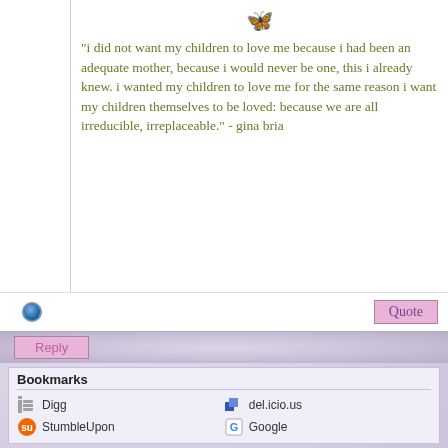[Figure (illustration): Purple butterfly emoji/icon centered in the right panel]
"i did not want my children to love me because i had been an adequate mother, because i would never be one, this i already knew. i wanted my children to love me for the same reason i want my children themselves to be loved: because we are all irreducible, irreplaceable." - gina bria
Bookmarks
Digg
del.icio.us
StumbleUpon
Google
« Previous Thread | Next Thread »
Posting Rules